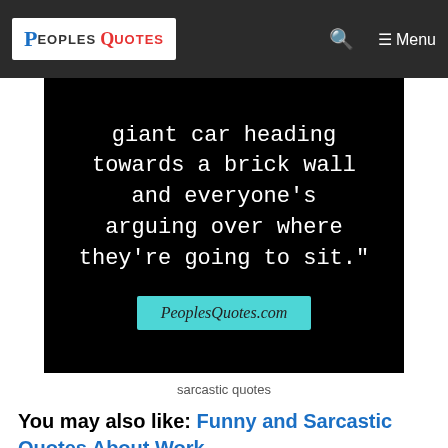PeoplesQuotes | Menu
[Figure (photo): Black background image with white serif text reading 'giant car heading towards a brick wall and everyone's arguing over where they're going to sit.' with a cyan/teal rectangle watermark reading 'PeoplesQuotes.com']
sarcastic quotes
You may also like: Funny and Sarcastic Quotes About Work